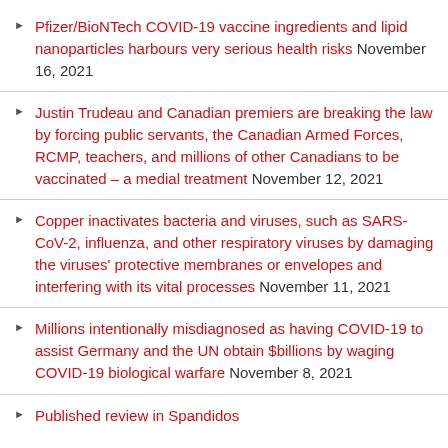Pfizer/BioNTech COVID-19 vaccine ingredients and lipid nanoparticles harbours very serious health risks November 16, 2021
Justin Trudeau and Canadian premiers are breaking the law by forcing public servants, the Canadian Armed Forces, RCMP, teachers, and millions of other Canadians to be vaccinated – a medial treatment November 12, 2021
Copper inactivates bacteria and viruses, such as SARS-CoV-2, influenza, and other respiratory viruses by damaging the viruses' protective membranes or envelopes and interfering with its vital processes November 11, 2021
Millions intentionally misdiagnosed as having COVID-19 to assist Germany and the UN obtain $billions by waging COVID-19 biological warfare November 8, 2021
Published review in Spandidos